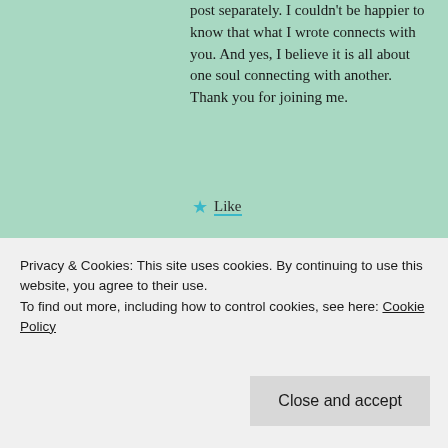post separately. I couldn't be happier to know that what I wrote connects with you. And yes, I believe it is all about one soul connecting with another. Thank you for joining me.
★ Like
↩ Reply
Leave a Reply to rhgeyer Cancel reply
Your email address will not be published. Required fields are marked *
Privacy & Cookies: This site uses cookies. By continuing to use this website, you agree to their use.
To find out more, including how to control cookies, see here: Cookie Policy
Close and accept